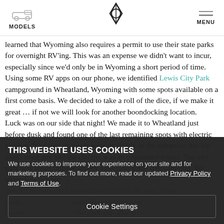MODELS | [logo] | MENU
learned that Wyoming also requires a permit to use their state parks for overnight RV'ing. This was an expense we didn't want to incur, especially since we'd only be in Wyoming a short period of time. Using some RV apps on our phone, we identified Lewis City Park campground in Wheatland, Wyoming with some spots available on a first come basis. We decided to take a roll of the dice, if we make it great … if not we will look for another boondocking location.
Luck was on our side that night! We made it to Wheatland just before dusk and found one of the last remaining spots with electric hookup. No water or sewer were available in the campsite, but we didn't need any and the electric was an unplanned bonus. The city park was small, maybe six RV sites, and some tent camping. We immediately were greeted by two great horned owls across the way, so we spent …[talking to our new found …] The park did offer a [tent …more…] [our …]
THIS WEBSITE USES COOKIES
We use cookies to improve your experience on your site and for marketing purposes. To find out more, read our updated Privacy Policy and Terms of Use.
Cookie Settings